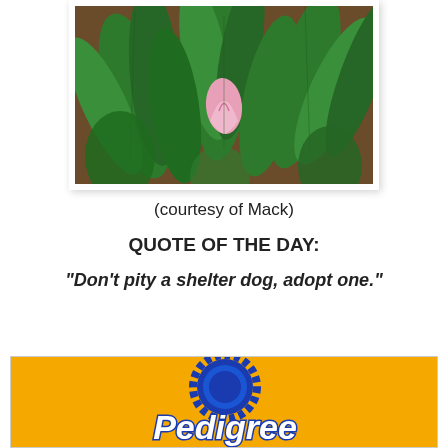[Figure (photo): Photograph of green tropical leaves with a pink calla lily flower in the center, displayed in a white photo frame with drop shadow]
(courtesy of Mack)
QUOTE OF THE DAY:
"Don't pity a shelter dog, adopt one."
[Figure (logo): Pedigree dog food advertisement with orange/yellow background, blue rosette badge, and white italic Pedigree text logo]